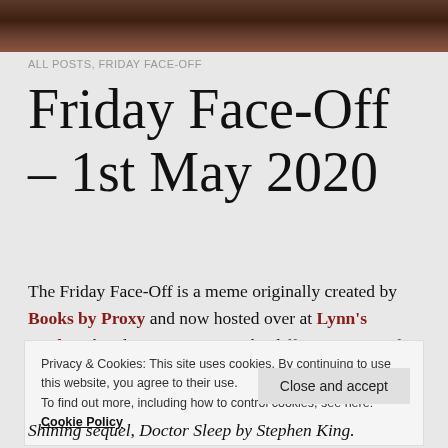[Figure (photo): Dark brown leather or wood texture header image]
ALL POSTS, FRIDAY FACE-OFF
Friday Face-Off – 1st May 2020
The Friday Face-Off is a meme originally created by Books by Proxy and now hosted over at Lynn's Books. The idea is to compare the different covers of a book with each week being a certain theme.
Privacy & Cookies: This site uses cookies. By continuing to use this website, you agree to their use.
To find out more, including how to control cookies, see here:
Cookie Policy
Close and accept
Shining sequel, Doctor Sleep by Stephen King.